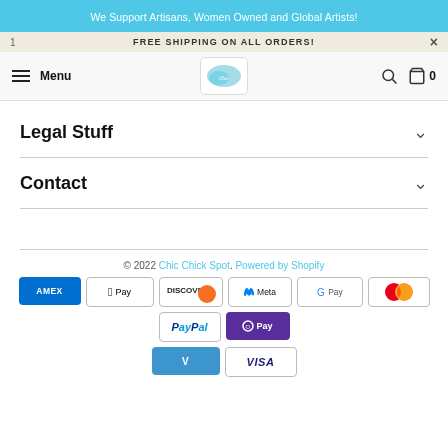We Support Artisans, Women Owned and Global Artists!
FREE SHIPPING ON ALL ORDERS!
Menu [logo] [search] [cart] 0
Legal Stuff
Contact
© 2022 Chic Chick Spot. Powered by Shopify
[Figure (other): Payment method icons: AMEX, Apple Pay, Discover, Meta Pay, Google Pay, Mastercard, PayPal, O Pay, Venmo, Visa]